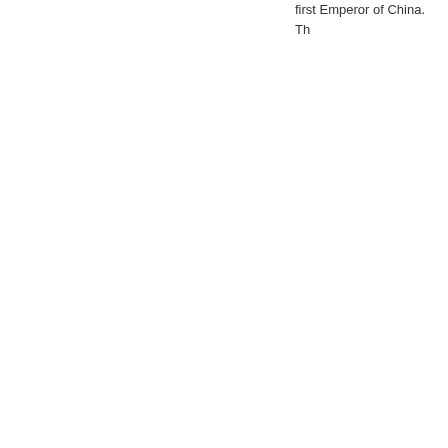first Emperor of China. Th...
Big Wild Goose Pago...
Big Wild Goose Pagoda (P... Xi'an, appealing numerous... rebuilt in in 704 during the... to China from India by Xu...